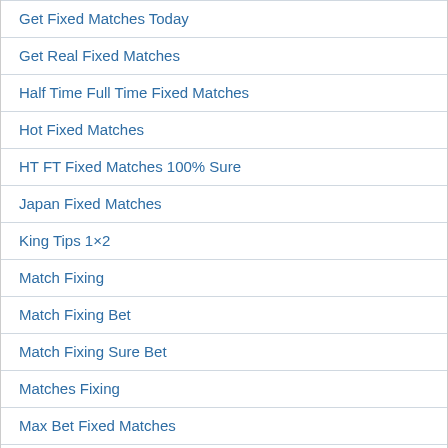Get Fixed Matches Today
Get Real Fixed Matches
Half Time Full Time Fixed Matches
Hot Fixed Matches
HT FT Fixed Matches 100% Sure
Japan Fixed Matches
King Tips 1×2
Match Fixing
Match Fixing Bet
Match Fixing Sure Bet
Matches Fixing
Max Bet Fixed Matches
Max4bet Fixed Matches
Milan Fixed Matches
Nigeria Fixed Matches